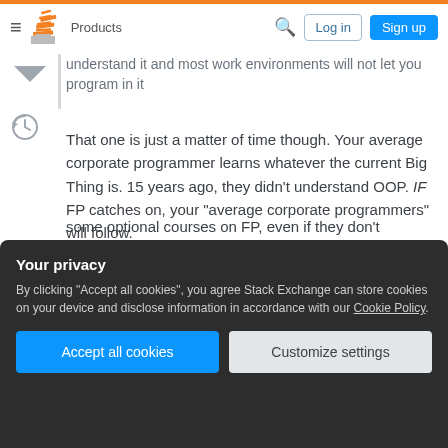Stack Overflow — Products | Log in | Sign up
understand it and most work environments will not let you program in it
That one is just a matter of time though. Your average corporate programmer learns whatever the current Big Thing is. 15 years ago, they didn't understand OOP. IF FP catches on, your "average corporate programmers" will follow.
It's not really taught at universities (or is it nowadays?)
Your privacy
By clicking "Accept all cookies", you agree Stack Exchange can store cookies on your device and disclose information in accordance with our Cookie Policy.
Accept all cookies
Customize settings
some optional courses on FP, even if they don't